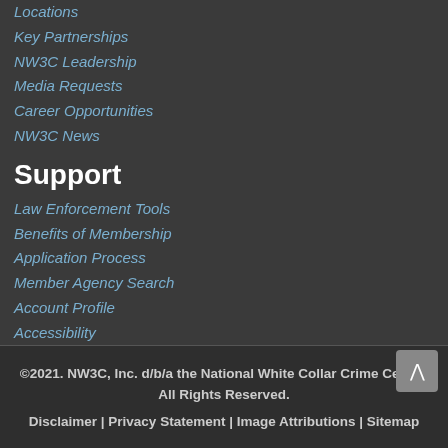Locations
Key Partnerships
NW3C Leadership
Media Requests
Career Opportunities
NW3C News
Support
Law Enforcement Tools
Benefits of Membership
Application Process
Member Agency Search
Account Profile
Accessibility
©2021. NW3C, Inc. d/b/a the National White Collar Crime Center. All Rights Reserved.
Disclaimer | Privacy Statement | Image Attributions | Sitemap
This website is funded in part through a grant from the Bureau of Justice Assistance, Office of Justice Programs, U.S.